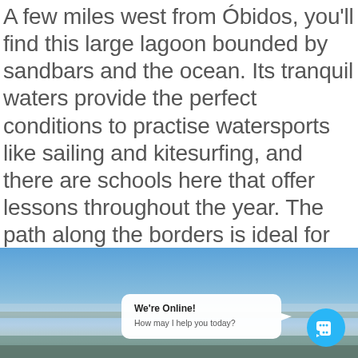A few miles west from Óbidos, you'll find this large lagoon bounded by sandbars and the ocean. Its tranquil waters provide the perfect conditions to practise watersports like sailing and kitesurfing, and there are schools here that offer lessons throughout the year. The path along the borders is ideal for walking and cycling and allows you to admire the wildlife up close. As you get near the coast, two beaches emerge on each side of the lagoon, Foz do Arelho and Praia do Bom Sucesso, which we describe below.
[Figure (photo): Coastal lagoon scene with blue sky, calm water, and distant shoreline with town visible. Overlaid with a chat widget showing 'We're Online! How may I help you today?' and a blue chat icon.]